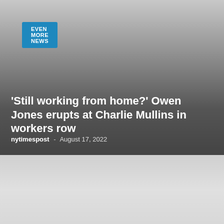EVEN MORE NEWS
[Figure (photo): Dark gradient background photo placeholder for news article thumbnail]
'Still working from home?' Owen Jones erupts at Charlie Mullins in workers row
nytimespost - August 17, 2022